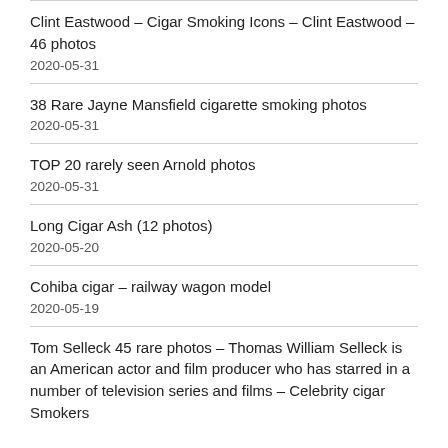Clint Eastwood – Cigar Smoking Icons – Clint Eastwood – 46 photos
2020-05-31
38 Rare Jayne Mansfield cigarette smoking photos
2020-05-31
TOP 20 rarely seen Arnold photos
2020-05-31
Long Cigar Ash (12 photos)
2020-05-20
Cohiba cigar – railway wagon model
2020-05-19
Tom Selleck 45 rare photos – Thomas William Selleck is an American actor and film producer who has starred in a number of television series and films – Celebrity cigar Smokers